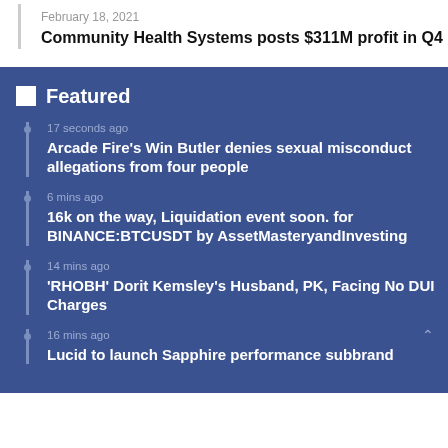February 18, 2021
Community Health Systems posts $311M profit in Q4
Featured
17 seconds ago
Arcade Fire's Win Butler denies sexual misconduct allegations from four people
6 mins ago
16k on the way, Liquidation event soon. for BINANCE:BTCUSDT by AssetMasteryandInvesting
14 mins ago
'RHOBH' Dorit Kemsley's Husband, PK, Facing No DUI Charges
16 mins ago
Lucid to launch Sapphire performance subbrand